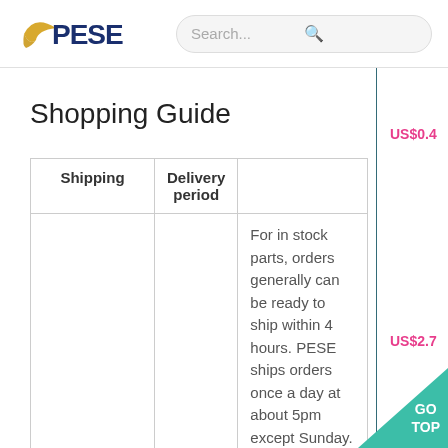PESE | Search...
Shopping Guide
| Shipping | Delivery period |  |
| --- | --- | --- |
|  |  | For in stock parts, orders generally can be ready to ship within 4 hours. PESE ships orders once a day at about 5pm except Sunday. Once shipped... |